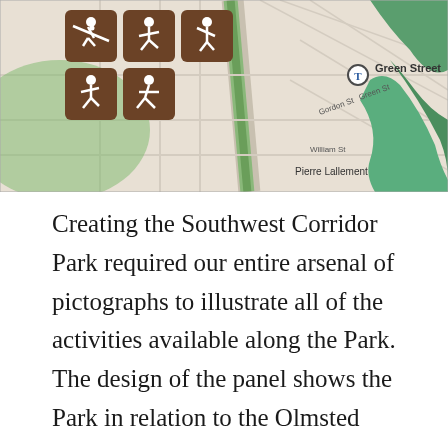[Figure (map): A street map showing the Southwest Corridor Park area in Boston, with brown activity pictograph icons (zip line, running, archery, baseball/tennis, skiing), a Green Street T station marker, street labels including Gordon St, Green St, William St, and Pierre Lallement bike path, and a green park/water area on the right.]
Creating the Southwest Corridor Park required our entire arsenal of pictographs to illustrate all of the activities available along the Park. The design of the panel shows the Park in relation to the Olmsted parks that surround it. Who is Pierre Lallement? The bike path is named after him, the inventor of the pedal bicycle.